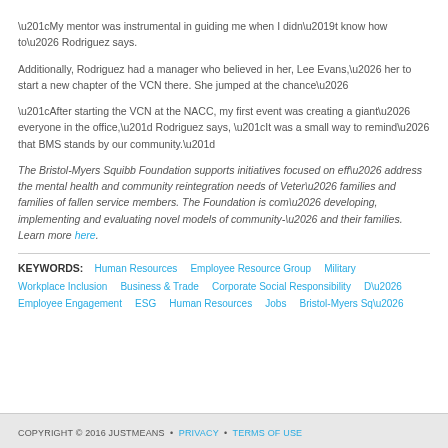“My mentor was instrumental in guiding me when I didn’t know how to… Rodriguez says.
Additionally, Rodriguez had a manager who believed in her, Lee Evans,… her to start a new chapter of the VCN there. She jumped at the chance…
“After starting the VCN at the NACC, my first event was creating a giant… everyone in the office,” Rodriguez says, “It was a small way to remind… that BMS stands by our community.”
The Bristol-Myers Squibb Foundation supports initiatives focused on eff… address the mental health and community reintegration needs of Veter… families and families of fallen service members. The Foundation is com… developing, implementing and evaluating novel models of community-… and their families. Learn more here.
KEYWORDS: Human Resources  Employee Resource Group  Military  Workplace Inclusion  Business & Trade  Corporate Social Responsibility  D…  Employee Engagement  ESG  Human Resources  Jobs  Bristol-Myers Sq…
COPYRIGHT © 2016 JUSTMEANS • PRIVACY • TERMS OF USE